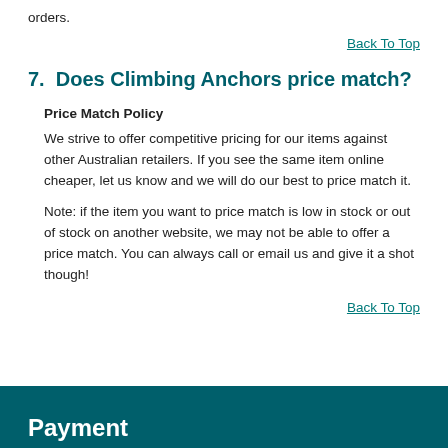orders.
Back To Top
7.  Does Climbing Anchors price match?
Price Match Policy
We strive to offer competitive pricing for our items against other Australian retailers. If you see the same item online cheaper, let us know and we will do our best to price match it.
Note: if the item you want to price match is low in stock or out of stock on another website, we may not be able to offer a price match. You can always call or email us and give it a shot though!
Back To Top
Payment